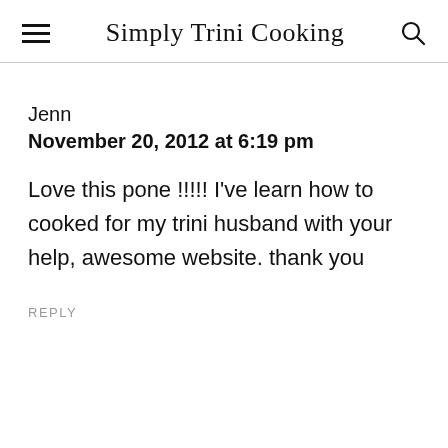Simply Trini Cooking
Jenn
November 20, 2012 at 6:19 pm
Love this pone !!!!! I've learn how to cooked for my trini husband with your help, awesome website. thank you
REPLY